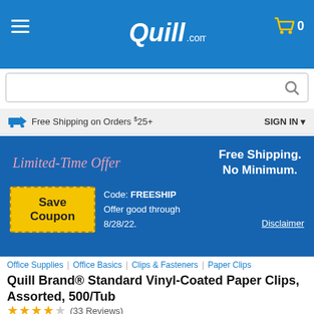[Figure (screenshot): Quill.com website header with logo, hamburger menu, cart icon showing 0 items]
[Figure (screenshot): Search bar with magnifying glass icon]
Free Shipping on Orders $25+   SIGN IN
[Figure (screenshot): Blue promotional banner: Limited-Time Offer, Free Shipping No Minimum. Save Coupon. Code: FREESHIP. Offer good through 8/28/22. Disclaimer.]
Office Supplies | Office Basics | Clips & Fasteners | Paper Clips
Quill Brand® Standard Vinyl-Coated Paper Clips, Assorted, 500/Tub
★★★★☆ (33 Reviews)
Write a Review
Item # 901-711506QL    Model # 11506-QCC